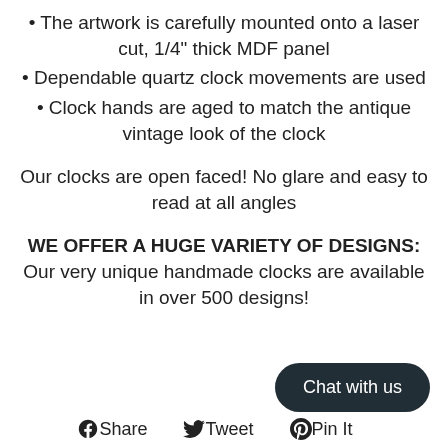The artwork is carefully mounted onto a laser cut, 1/4" thick MDF panel
Dependable quartz clock movements are used
Clock hands are aged to match the antique vintage look of the clock
Our clocks are open faced! No glare and easy to read at all angles
WE OFFER A HUGE VARIETY OF DESIGNS: Our very unique handmade clocks are available in over 500 designs!
Share  Tweet  Pin It